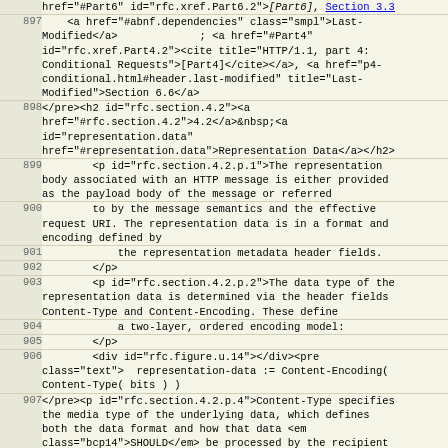| line | code |
| --- | --- |
|  | href="#Part6" id="rfc.xref.Part6.2"><cite
 title="HTTP/1.1, part 6: Caching">[Part6]</cite></a>, <a
 href="p6-cache.html#header.expires"
 title="Expires">Section 3.3</a> |
| 897 |     <a href="#abnf.dependencies" class="smpl">Last-
 Modified</a>             ; <a href="#Part4"
 id="rfc.xref.Part4.2"><cite title="HTTP/1.1, part 4:
 Conditional Requests">[Part4]</cite></a>, <a href="p4-
 conditional.html#header.last-modified" title="Last-
 Modified">Section 6.6</a> |
| 898 | </pre><h2 id="rfc.section.4.2"><a
 href="#rfc.section.4.2">4.2</a>&nbsp;<a
 id="representation.data"
 href="#representation.data">Representation Data</a></h2> |
| 899 |         <p id="rfc.section.4.2.p.1">The representation
 body associated with an HTTP message is either provided
 as the payload body of the message or referred |
| 900 |         to by the message semantics and the effective
 request URI. The representation data is in a format and
 encoding defined by |
| 901 |             the representation metadata header fields. |
| 902 |         </p> |
| 903 |         <p id="rfc.section.4.2.p.2">The data type of the
 representation data is determined via the header fields
 Content-Type and Content-Encoding. These define |
| 904 |             a two-layer, ordered encoding model: |
| 905 |         </p> |
| 906 |         <div id="rfc.figure.u.14"></div><pre
 class="text">  representation-data := Content-Encoding(
 Content-Type( bits ) ) |
| 907 | </pre><p id="rfc.section.4.2.p.4">Content-Type specifies
 the media type of the underlying data, which defines
 both the data format and how that data <em
 class="bcp14">SHOULD</em> be processed by the recipient
 (within the scope of the request method semantics). Any
 HTTP/1.1 message containing a payload |